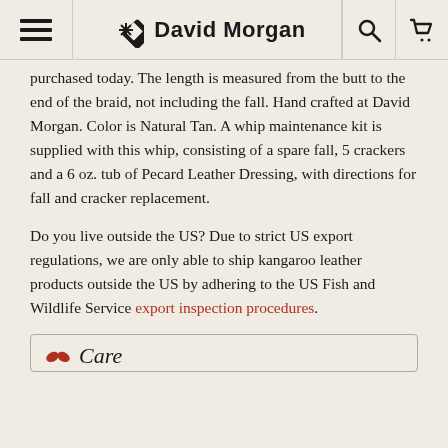David Morgan
purchased today. The length is measured from the butt to the end of the braid, not including the fall. Hand crafted at David Morgan. Color is Natural Tan. A whip maintenance kit is supplied with this whip, consisting of a spare fall, 5 crackers and a 6 oz. tub of Pecard Leather Dressing, with directions for fall and cracker replacement.
Do you live outside the US? Due to strict US export regulations, we are only able to ship kangaroo leather products outside the US by adhering to the US Fish and Wildlife Service export inspection procedures.
Care